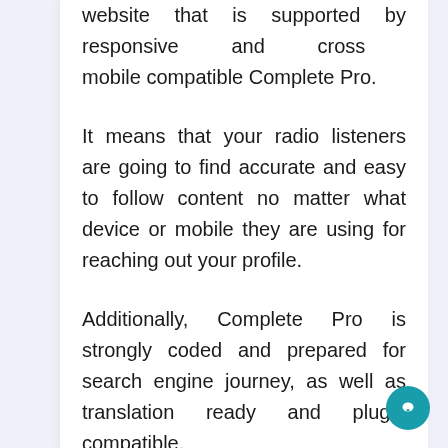website that is supported by responsive and cross mobile compatible Complete Pro.
It means that your radio listeners are going to find accurate and easy to follow content no matter what device or mobile they are using for reaching out your profile.
Additionally, Complete Pro is strongly coded and prepared for search engine journey, as well as translation ready and plugin compatible.